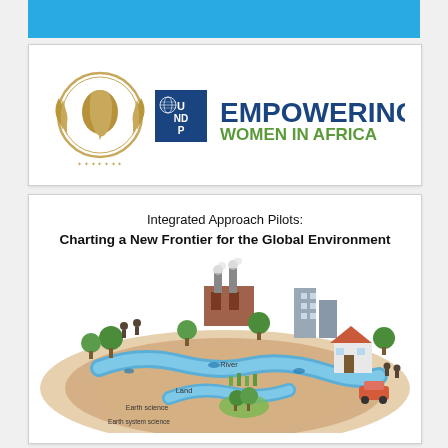[Figure (logo): UNDP Empowering Women in Africa logo with African Union emblem and UNDP blue box logo alongside text 'EMPOWERING WOMEN IN AFRICA']
Integrated Approach Pilots:
Charting a New Frontier for the Global Environment
[Figure (illustration): Circular diagram showing integrated landscape with concentric oval rings labeled Earth system science, Earth science, Land, and River. The landscape includes trees, people, a factory with smokestacks, buildings, a house, and a car arranged around the river system.]